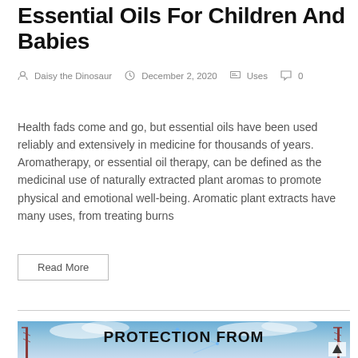Essential Oils For Children And Babies
Daisy the Dinosaur   December 2, 2020   Uses   0
Health fads come and go, but essential oils have been used reliably and extensively in medicine for thousands of years. Aromatherapy, or essential oil therapy, can be defined as the medicinal use of naturally extracted plant aromas to promote physical and emotional well-being. Aromatic plant extracts have many uses, from treating burns
Read More
[Figure (photo): Blog post thumbnail image showing cell towers against a cloudy sky with text 'PROTECTION FROM 5G' overlaid in bold black letters. A network/5G connectivity graphic is visible in the background.]